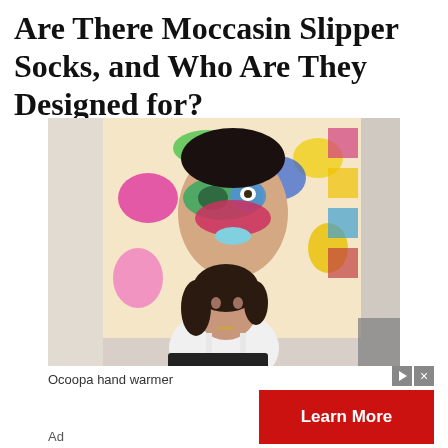Are There Moccasin Slipper Socks, and Who Are They Designed for?
[Figure (photo): A young woman with dark hair wearing a white top, seated in front of a large colorful pop-art style painting on a wall depicting a face with a masquerade mask in blue, green and pink tones with vibrant multicolored background]
Ocoopa hand warmer
Ad